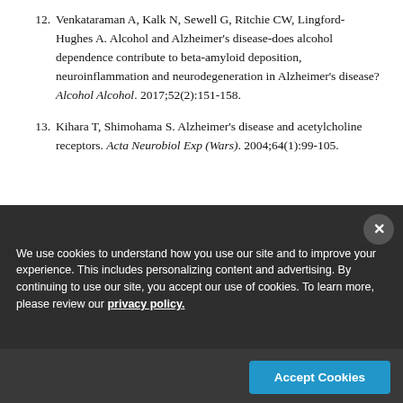12. Venkataraman A, Kalk N, Sewell G, Ritchie CW, Lingford-Hughes A. Alcohol and Alzheimer's disease-does alcohol dependence contribute to beta-amyloid deposition, neuroinflammation and neurodegeneration in Alzheimer's disease? Alcohol Alcohol. 2017;52(2):151-158.
13. Kihara T, Shimohama S. Alzheimer's disease and acetylcholine receptors. Acta Neurobiol Exp (Wars). 2004;64(1):99-105.
We use cookies to understand how you use our site and to improve your experience. This includes personalizing content and advertising. By continuing to use our site, you accept our use of cookies. To learn more, please review our privacy policy.